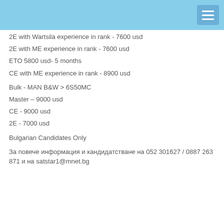2E with Wartsila experience in rank - 7600 usd
2E with ME experience in rank - 7600 usd
ETO 5800 usd- 5 months
CE with ME experience in rank - 8900 usd
Bulk - MAN B&W > 6S50MC
Master – 9000 usd
CE - 9000 usd
2E - 7000 usd
Bulgarian Candidates Only
За повече информация и кандидатстване на 052 301627 / 0887 263 871 и на satstar1@mnet.bg